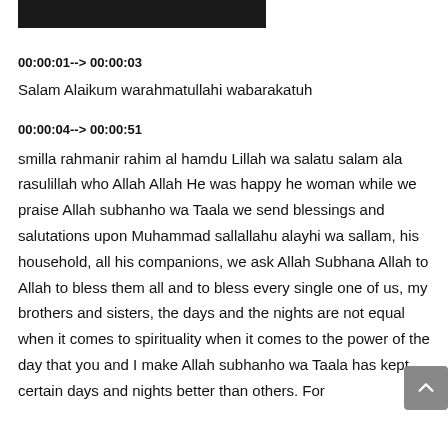[Figure (other): Black header bar at top of page]
00:00:01--> 00:00:03
Salam Alaikum warahmatullahi wabarakatuh
00:00:04--> 00:00:51
smilla rahmanir rahim al hamdu Lillah wa salatu salam ala rasulillah who Allah Allah He was happy he woman while we praise Allah subhanho wa Taala we send blessings and salutations upon Muhammad sallallahu alayhi wa sallam, his household, all his companions, we ask Allah Subhana Allah to Allah to bless them all and to bless every single one of us, my brothers and sisters, the days and the nights are not equal when it comes to spirituality when it comes to the power of the day that you and I make Allah subhanho wa Taala has kept certain days and nights better than others. For